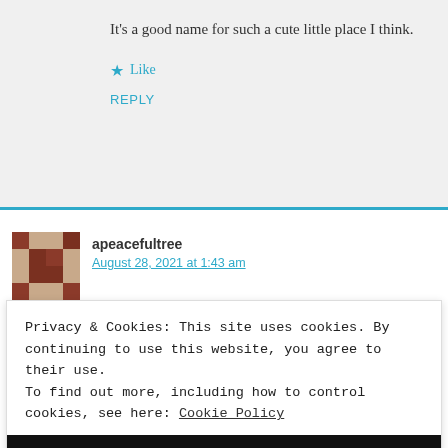It’s a good name for such a cute little place I think.
★ Like
REPLY
apeacefultree
August 28, 2021 at 1:43 am
Privacy & Cookies: This site uses cookies. By continuing to use this website, you agree to their use.
To find out more, including how to control cookies, see here: Cookie Policy
CLOSE AND ACCEPT